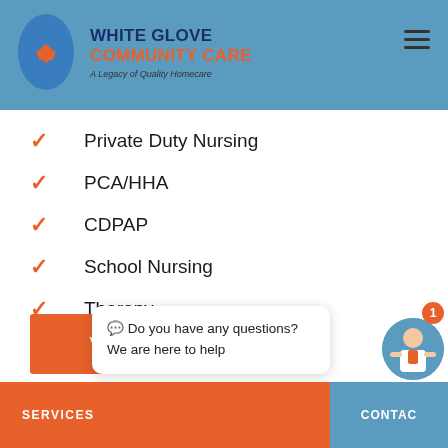[Figure (logo): White Glove Community Care logo with blue hand icon and orange/navy text]
Private Duty Nursing
PCA/HHA
CDPAP
School Nursing
Therapy
View All Services
Do you have any questions? We are here to help
SERVICES | CONTACT